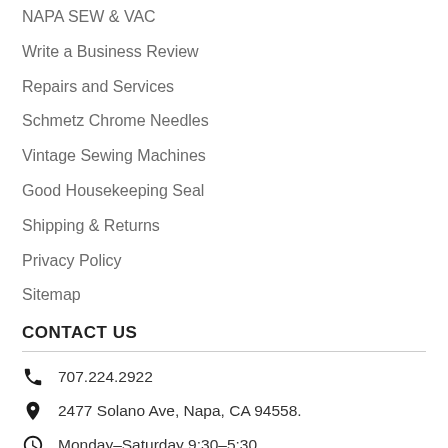NAPA SEW & VAC
Write a Business Review
Repairs and Services
Schmetz Chrome Needles
Vintage Sewing Machines
Good Housekeeping Seal
Shipping & Returns
Privacy Policy
Sitemap
CONTACT US
707.224.2922
2477 Solano Ave, Napa, CA 94558.
Monday–Saturday 9:30–5:30,